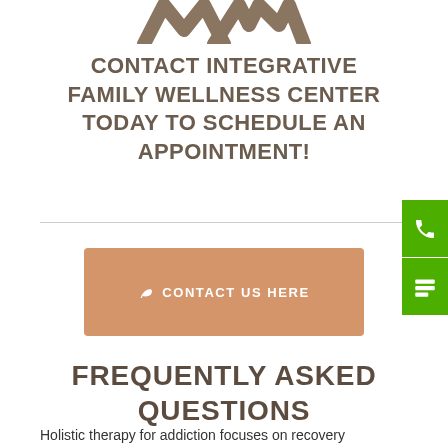[Figure (logo): Partial logo mark of Integrative Family Wellness Center, showing stylized letter forms in brown/taupe color, cropped at top of page]
CONTACT INTEGRATIVE FAMILY WELLNESS CENTER TODAY TO SCHEDULE AN APPOINTMENT!
[Figure (other): Orange/tan rounded rectangle button labeled 'CONTACT US HERE' with a leaf icon]
[Figure (other): Green phone icon button on right edge]
[Figure (other): Green email/contact icon button on right edge]
FREQUENTLY ASKED QUESTIONS
Holistic therapy for addiction focuses on recovery